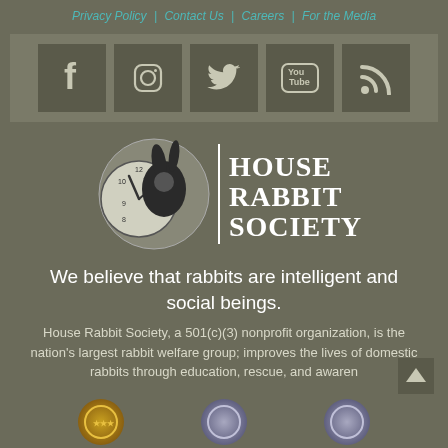Privacy Policy | Contact Us | Careers | For the Media
[Figure (screenshot): Social media icons strip: Facebook, Instagram, Twitter, YouTube, RSS feed icons on dark square backgrounds]
[Figure (logo): House Rabbit Society logo: rabbit with clock illustration and 'House Rabbit Society' text]
We believe that rabbits are intelligent and social beings.
House Rabbit Society, a 501(c)(3) nonprofit organization, is the nation's largest rabbit welfare group; improves the lives of domestic rabbits through education, rescue, and awaren...
[Figure (infographic): Bottom row of award/certification badge circles, partially visible]